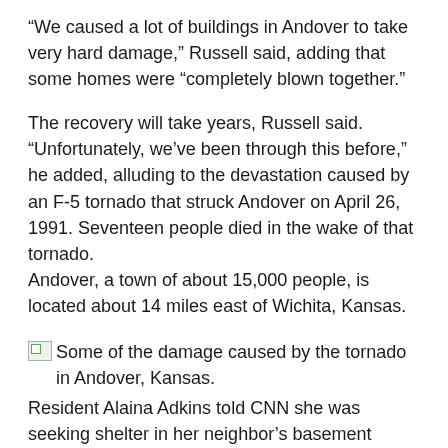“We caused a lot of buildings in Andover to take very hard damage,” Russell said, adding that some homes were “completely blown together.”
The recovery will take years, Russell said. “Unfortunately, we’ve been through this before,” he added, alluding to the devastation caused by an F-5 tornado that struck Andover on April 26, 1991. Seventeen people died in the wake of that tornado.
Andover, a town of about 15,000 people, is located about 14 miles east of Wichita, Kansas.
Some of the damage caused by the tornado in Andover, Kansas.
Resident Alaina Adkins told CNN she was seeking shelter in her neighbor’s basement across the street from her apartment complex as the tornado swept past.